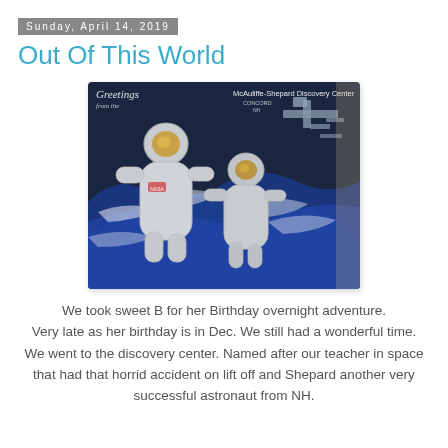Sunday, April 14, 2019
Out Of This World
[Figure (photo): Two people posing with their faces in a cutout photo display at the McAuliffe-Shepard Discovery Center, showing astronaut suits floating over Earth with space station in background.]
We took sweet B for her Birthday overnight adventure.
Very late as her birthday is in Dec. We still had a wonderful time.
We went to the discovery center. Named after our teacher in space that had that horrid accident on lift off and Shepard another very successful astronaut from NH.